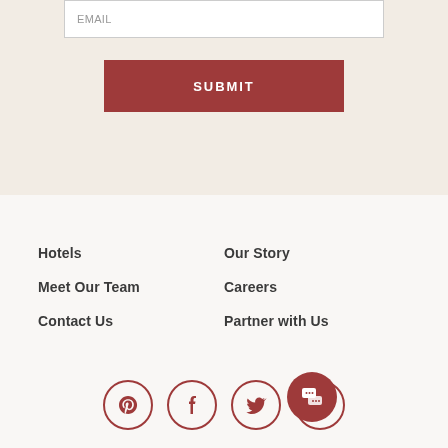EMAIL
SUBMIT
Hotels
Meet Our Team
Contact Us
Our Story
Careers
Partner with Us
[Figure (other): Social media icon links: Pinterest, Facebook, Twitter, Instagram, and a chat button]